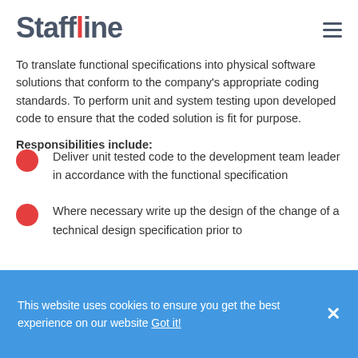Staffline
To translate functional specifications into physical software solutions that conform to the company's appropriate coding standards. To perform unit and system testing upon developed code to ensure that the coded solution is fit for purpose.
Responsibilities include:
Deliver unit tested code to the development team leader in accordance with the functional specification
Where necessary write up the design of the change of a technical design specification prior to
This website uses cookies to ensure you get the best experience on our website Got it!